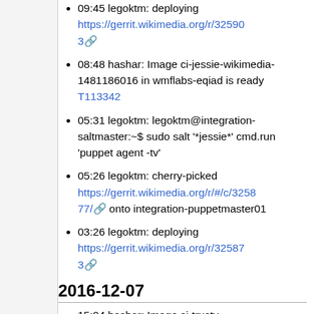09:45 legoktm: deploying https://gerrit.wikimedia.org/r/325903
08:48 hashar: Image ci-jessie-wikimedia-1481186016 in wmflabs-eqiad is ready T113342
05:31 legoktm: legoktm@integration-saltmaster:~$ sudo salt '*jessie*' cmd.run 'puppet agent -tv'
05:26 legoktm: cherry-picked https://gerrit.wikimedia.org/r/#/c/325877/ onto integration-puppetmaster01
03:26 legoktm: deploying https://gerrit.wikimedia.org/r/325873
2016-12-07
15:04 hashar: Image ci-trusty-